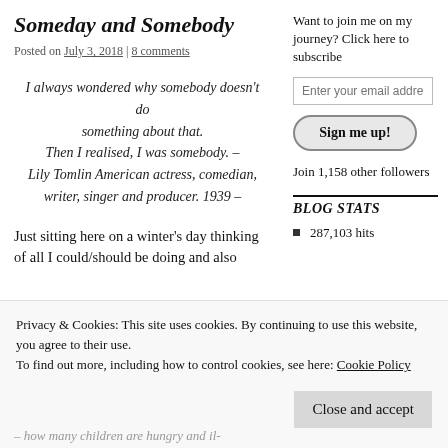Someday and Somebody
Posted on July 3, 2018 | 8 comments
Want to join me on my journey? Click here to subscribe
I always wondered why somebody doesn't do something about that. Then I realised, I was somebody. – Lily Tomlin American actress, comedian, writer, singer and producer. 1939 –
Join 1,158 other followers
BLOG STATS
287,103 hits
Just sitting here on a winter's day thinking of all I could/should be doing and also
Privacy & Cookies: This site uses cookies. By continuing to use this website, you agree to their use. To find out more, including how to control cookies, see here: Cookie Policy
– how many children are hungry and il-